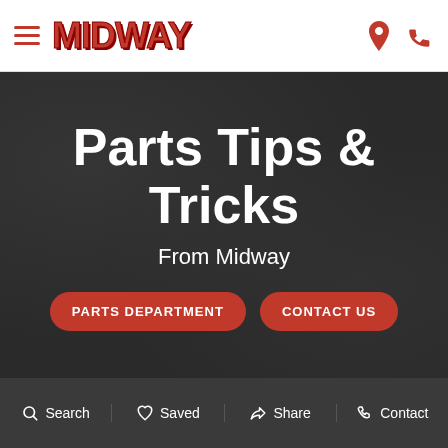Midway — navigation header with hamburger menu, Midway logo, location and phone icons
Parts Tips & Tricks
From Midway
PARTS DEPARTMENT
CONTACT US
Search  Saved  Share  Contact